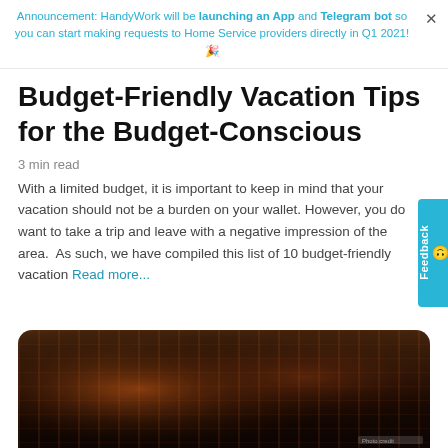Announcement: HandyWork will be launching an App and Telegram bot so you can start making requests to Home Service providers directly in Q1 2021! 🎉
Budget-Friendly Vacation Tips for the Budget-Conscious
3 min read
With a limited budget, it is important to keep in mind that your vacation should not be a burden on your wallet. However, you do want to take a trip and leave with a negative impression of the area.  As such, we have compiled this list of 10 budget-friendly vacation Read more...
[Figure (photo): Dark decorative textile or rug pattern photo at bottom of page]